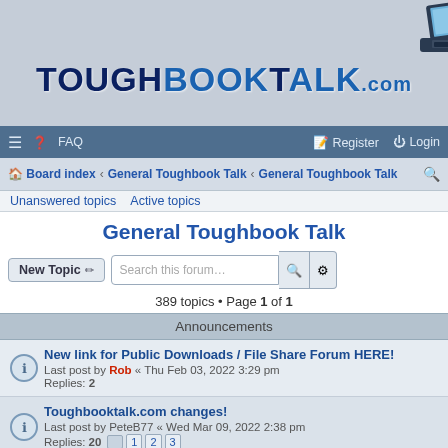[Figure (logo): ToughbookTalk.com logo with laptop image]
≡  ? FAQ    Register  Login
Board index › General Toughbook Talk › General Toughbook Talk
Unanswered topics   Active topics
General Toughbook Talk
New Topic  Search this forum…  389 topics • Page 1 of 1
Announcements
New link for Public Downloads / File Share Forum HERE!
Last post by Rob « Thu Feb 03, 2022 3:29 pm
Replies: 2
Toughbooktalk.com changes!
Last post by PeteB77 « Wed Mar 09, 2022 2:38 pm
Replies: 20  1 2 3
Who wants free G1 batteries? THIS RECALL IS SERIOUS!!!!
Last post by Rob « Wed Jul 06, 2022 3:21 pm